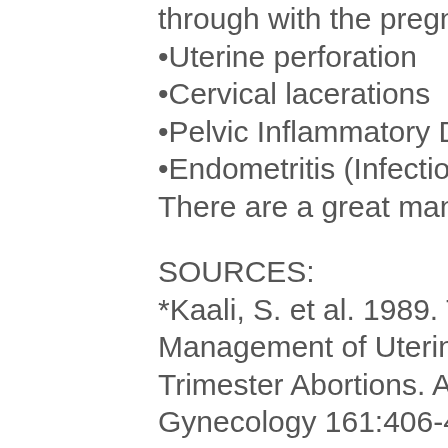through with the pregnancy.
•Uterine perforation
•Cervical lacerations
•Pelvic Inflammatory Disease (PID)
•Endometritis (Infection)
There are a great many long-term health risks as well.
SOURCES:
*Kaali, S. et al. 1989. The Frequency and Management of Uterine Perforations During First-Trimester Abortions. Am. J. Obstetrics and Gynecology 161:406-408. White, M. 1977. A Case-Control Study of Uterine Perforations documented at Laparoscopy. Am. J. Obstetrics and Gynecology 129:623. *Schulz, K. et al. 1983. Measures to Prevent Cervical Injuries During Suction Curettage Abortion. The Lancet May 28, 1983, pp 1182-1184. Cates, W. 1986. The Risks Associated with Teenage Abortion. New England Journal of Medicine 309(11):612-624 Castadot, R. 1986. Pregnancy Termination: Techniques, Risks, and Complications and Their Management. Fertility and Sterility 45(1):5-16. *Frank, et.al. 1985. Induced Abortion Operations and Their Early Sequelae.